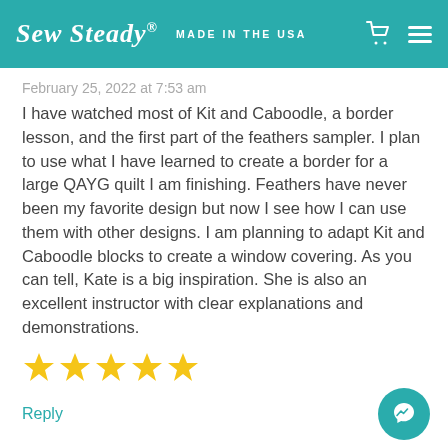Sew Steady® MADE IN THE USA
February 25, 2022 at 7:53 am
I have watched most of Kit and Caboodle, a border lesson, and the first part of the feathers sampler. I plan to use what I have learned to create a border for a large QAYG quilt I am finishing. Feathers have never been my favorite design but now I see how I can use them with other designs. I am planning to adapt Kit and Caboodle blocks to create a window covering. As you can tell, Kate is a big inspiration. She is also an excellent instructor with clear explanations and demonstrations.
[Figure (other): Five yellow star rating icons]
Reply